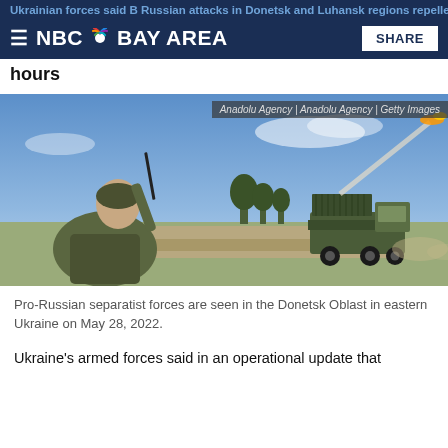NBC Bay Area
Ukrainian forces said B Russian attacks in Donetsk and Luhansk regions repelled in past 24 hours
[Figure (photo): A soldier in camouflage gear watches a rocket launch from a military truck (BM-21 Grad) in an open field. Blue sky with some clouds. Pro-Russian separatist forces in Donetsk Oblast, eastern Ukraine, May 28, 2022.]
Pro-Russian separatist forces are seen in the Donetsk Oblast in eastern Ukraine on May 28, 2022.
Ukraine's armed forces said in an operational update that